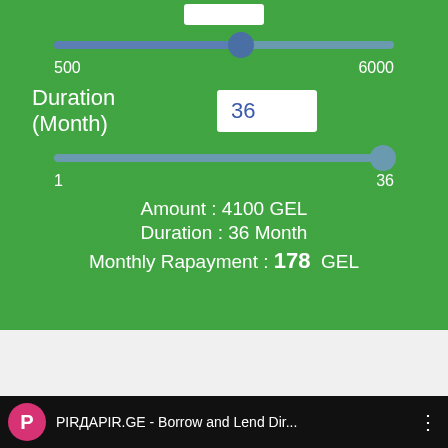[Figure (screenshot): Loan calculator UI with two sliders on green background. First slider shows amount range 500-6000, set at ~4100. Second slider shows duration range 1-36, set at 36. Input box shows 36 for Duration (Month). Amount: 4100 GEL, Duration: 36 Month, Monthly Rapayment: 178 GEL.]
500
6000
Duration (Month)
36
1
36
Amount : 4100 GEL
Duration : 36 Month
Monthly Rapayment : 178 GEL
PIRДАРIR.GE - Borrow and Lend Dir...